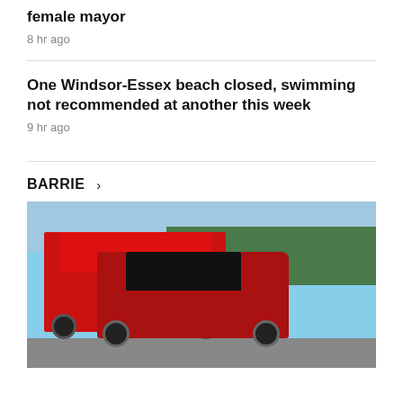female mayor
8 hr ago
One Windsor-Essex beach closed, swimming not recommended at another this week
9 hr ago
BARRIE >
[Figure (photo): A damaged vintage red antique car in front of a red fire truck on a road, with trees and blue sky in the background.]